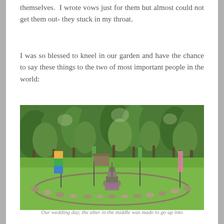themselves.  I wrote vows just for them but almost could not get them out- they stuck in my throat.
I was so blessed to kneel in our garden and have the chance to say these things to the two of most important people in the world:
[Figure (photo): Outdoor garden wedding space with a circular stone border on grass, a stone altar/cairn in the center, colorful fabric flags on poles, and a dense forest of green trees in the background.]
Our wedding day, the alter in the middle was made to go up into